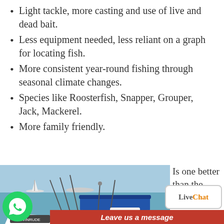Light tackle, more casting and use of live and dead bait.
Less equipment needed, less reliant on a graph for locating fish.
More consistent year-round fishing through seasonal climate changes.
Species like Roosterfish, Snapper, Grouper, Jack, Mackerel.
More family friendly.
[Figure (photo): A fishing boat with multiple fishing rods, blue canopy, docked near ocean water with a sailboat in background.]
Is one better than the other? Is
shing
[Figure (logo): WhatsApp green circle logo button]
[Figure (logo): LiveChat button with orange Chat text]
Leave us a message